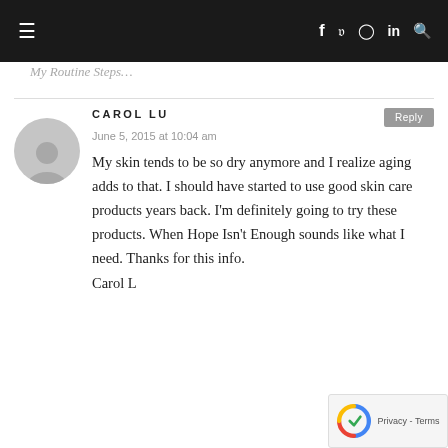≡  f  𝕏  ⊙  in  🔍
My Routine Steps…
CAROL LU
June 5, 2015 at 10:04 am
My skin tends to be so dry anymore and I realize aging adds to that. I should have started to use good skin care products years back. I'm definitely going to try these products. When Hope Isn't Enough sounds like what I need. Thanks for this info.
Carol L